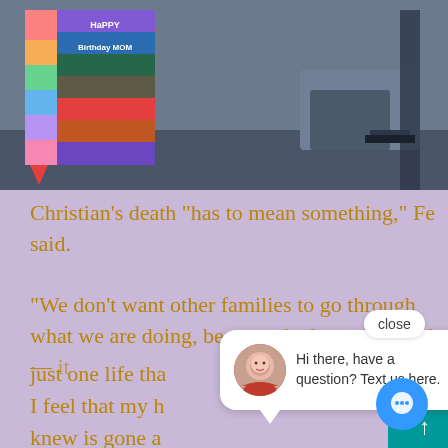[Figure (photo): Photo showing a colorful birthday card reading 'Happy Birthday Mom' alongside what appears to be a person seated in a room]
Christian’s death “has to mean something,” Fe said.
“We don’t want other families to go through what we are doing, because the loss of a child — it’s not just one life tha… I feel that my h… knew is gone a… don’t know how to move on. It’s just very diffi… to think that it could happen to someone else…
[Figure (screenshot): Chat popup with avatar of a woman in red, message reads: Hi there, have a question? Text us here. With a close button above and chat icon in bottom right.]